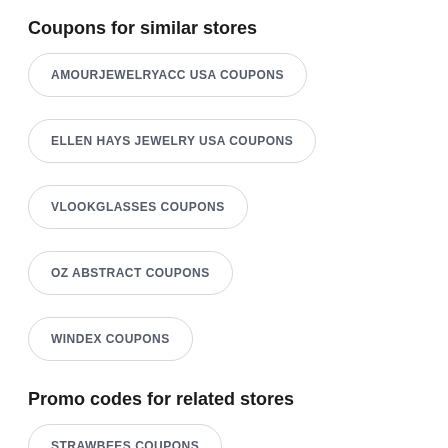Coupons for similar stores
AMOURJEWELRYACC USA COUPONS
ELLEN HAYS JEWELRY USA COUPONS
VLOOKGLASSES COUPONS
OZ ABSTRACT COUPONS
WINDEX COUPONS
Promo codes for related stores
STRAWBEES COUPONS